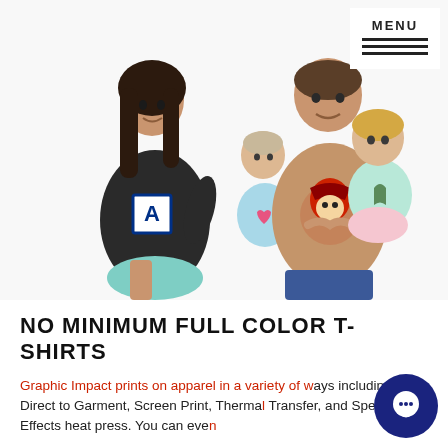[Figure (photo): Family photo showing a woman in dark t-shirt with 'A' logo, a man in a red pirate mascot t-shirt holding a young girl in mint green outfit, and a baby in light blue shirt. White background.]
NO MINIMUM FULL COLOR T-SHIRTS
Graphic Impact prints on apparel in a variety of ways including Direct to Garment, Screen Print, Thermal Transfer, and Special Effects heat press. You can even design your own Custom T-Shirts and upload your